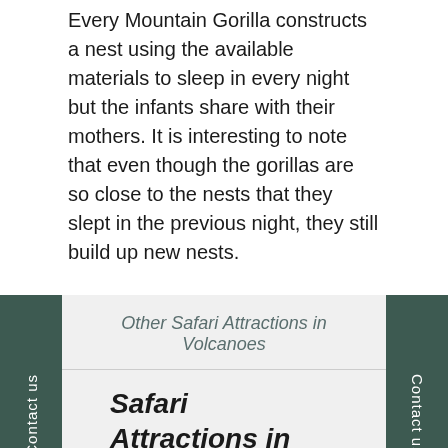Every Mountain Gorilla constructs a nest using the available materials to sleep in every night but the infants share with their mothers. It is interesting to note that even though the gorillas are so close to the nests that they slept in the previous night, they still build up new nests.
Other Safari Attractions in Volcanoes
Safari Attractions in Volcanoes National Park Rwanda
Mountain Gorillas in Volcanoes Park Rwanda